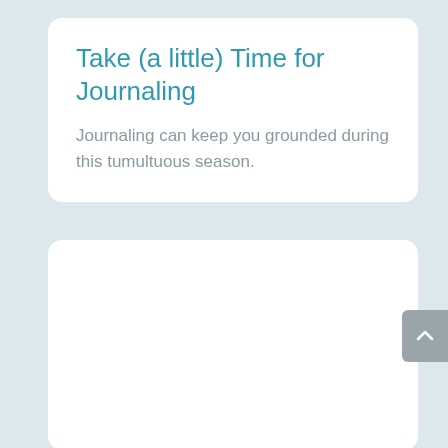Take (a little) Time for Journaling
Journaling can keep you grounded during this tumultuous season.
[Figure (other): Empty white card panel, partially visible, with a scroll-to-top button on the right edge]